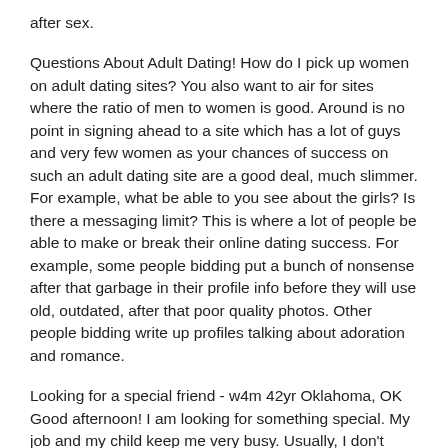after sex.
Questions About Adult Dating! How do I pick up women on adult dating sites? You also want to air for sites where the ratio of men to women is good. Around is no point in signing ahead to a site which has a lot of guys and very few women as your chances of success on such an adult dating site are a good deal, much slimmer. For example, what be able to you see about the girls? Is there a messaging limit? This is where a lot of people be able to make or break their online dating success. For example, some people bidding put a bunch of nonsense after that garbage in their profile info before they will use old, outdated, after that poor quality photos. Other people bidding write up profiles talking about adoration and romance.
Looking for a special friend - w4m 42yr Oklahoma, OK Good afternoon! I am looking for something special. My job and my child keep me very busy. Usually, I don't allow time to go out and assemble people, let alone date.